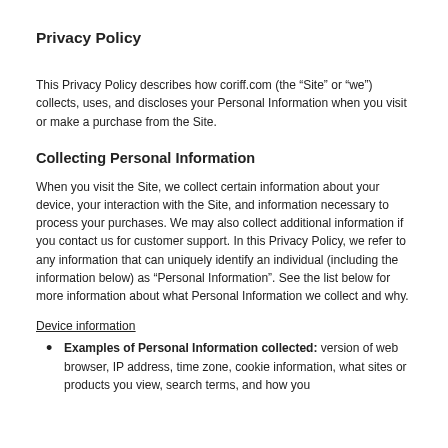Privacy Policy
This Privacy Policy describes how coriff.com (the “Site” or “we”) collects, uses, and discloses your Personal Information when you visit or make a purchase from the Site.
Collecting Personal Information
When you visit the Site, we collect certain information about your device, your interaction with the Site, and information necessary to process your purchases. We may also collect additional information if you contact us for customer support. In this Privacy Policy, we refer to any information that can uniquely identify an individual (including the information below) as “Personal Information”. See the list below for more information about what Personal Information we collect and why.
Device information
Examples of Personal Information collected: version of web browser, IP address, time zone, cookie information, what sites or products you view, search terms, and how you